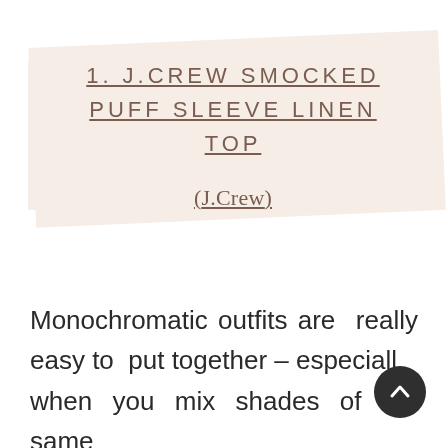1. J.CREW SMOCKED PUFF SLEEVE LINEN TOP
(J.Crew)
Monochromatic outfits are really easy to put together – especially when you mix shades of the same